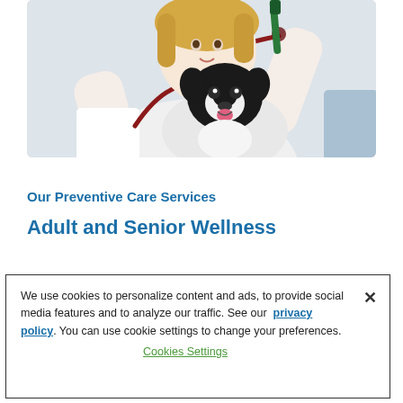[Figure (photo): A veterinarian in a white coat with a red stethoscope examining a black and white Boston Terrier dog, holding an instrument above the dog's head. Clinical/veterinary setting.]
Our Preventive Care Services
Adult and Senior Wellness
We use cookies to personalize content and ads, to provide social media features and to analyze our traffic. See our privacy policy. You can use cookie settings to change your preferences.
Cookies Settings